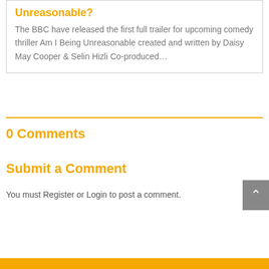Unreasonable?
The BBC have released the first full trailer for upcoming comedy thriller Am I Being Unreasonable created and written by Daisy May Cooper & Selin Hizli Co-produced…
0 Comments
Submit a Comment
You must Register or Login to post a comment.